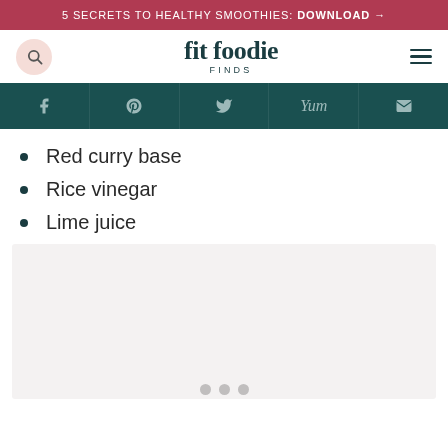5 SECRETS TO HEALTHY SMOOTHIES: DOWNLOAD →
[Figure (logo): Fit Foodie Finds logo with search icon and hamburger menu]
[Figure (infographic): Social share bar with Facebook, Pinterest, Twitter, Yum, and email icons on dark teal background]
Red curry base
Rice vinegar
Lime juice
[Figure (photo): Light grey placeholder image area with three grey dots at the bottom]